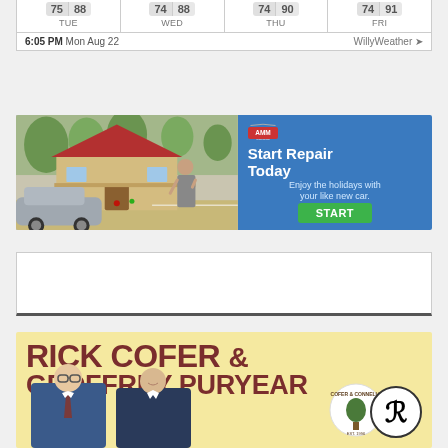| TUE | WED | THU | FRI |
| --- | --- | --- | --- |
| 75 | 88 | 74 | 88 | 74 | 90 | 74 | 91 |
6:05 PM Mon Aug 22    WillyWeather
[Figure (photo): AMM Collision advertisement: photo of house with car and person on left; blue panel on right reading 'Start Repair Today - Enjoy the holidays with your like new car. START']
[Figure (other): Empty white ad placeholder box]
[Figure (photo): Rick Cofer & Geoffrey Puryear law firm advertisement on yellow background with photos of two men and Cofer & Connelly logo]